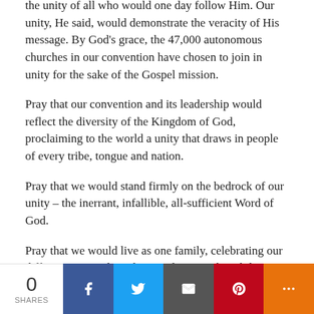the unity of all who would one day follow Him. Our unity, He said, would demonstrate the veracity of His message. By God's grace, the 47,000 autonomous churches in our convention have chosen to join in unity for the sake of the Gospel mission.
Pray that our convention and its leadership would reflect the diversity of the Kingdom of God, proclaiming to the world a unity that draws in people of every tribe, tongue and nation.
Pray that we would stand firmly on the bedrock of our unity – the inerrant, infallible, all-sufficient Word of God.
Pray that we would live as one family, celebrating our differences in style, culture and geography while valuing all men and women as image-
0 SHARES | Facebook | Twitter | Email | Pinterest | More